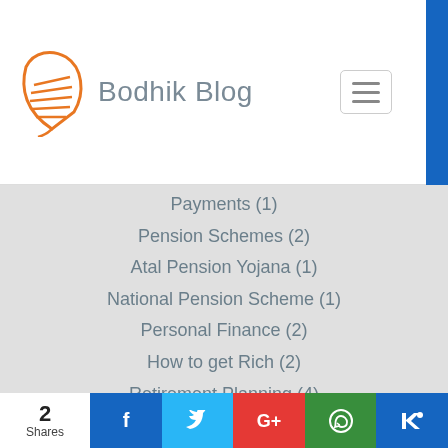Bodhik Blog
Payments (1)
Pension Schemes (2)
Atal Pension Yojana (1)
National Pension Scheme (1)
Personal Finance (2)
How to get Rich (2)
Retirement Planning (4)
Saving Schemes (10)
Pension Schemes (4)
PPF/EPF (2)
2 Shares